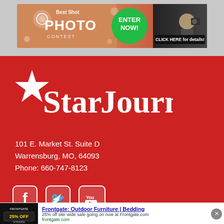[Figure (illustration): Banner advertisement for 'Best Shot Photo Contest' with 'Enter Now! Click Here for Details!' call to action on orange/red background with a photographer image]
[Figure (logo): Star Journal newspaper logo — white star icon followed by 'Star Journal' in large white serif text on red background]
101 E. Market St. Suite D
Warrensburg, MO, 64093
Phone: 660-747-8123
[Figure (illustration): Social media icons: Facebook, Twitter, YouTube — white icons on red background]
SECTIONS
LINKS OF INTEREST
[Figure (illustration): Advertisement for Frontgate: Outdoor Furniture | Bedding — 25% off sitewide sale at Frontgate.com, with product image and navigation arrow button]